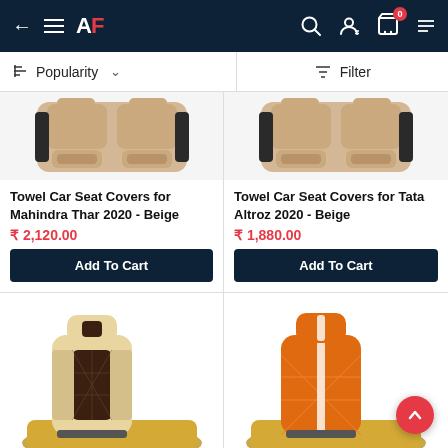AF — navigation bar with back arrow, hamburger menu, logo, search, account, cart (0 items)
Popularity ∨   Filter
[Figure (photo): Beige towel car seat covers for Mahindra Thar 2020 — partial top view]
Towel Car Seat Covers for Mahindra Thar 2020 - Beige
₹ 2,120.00
Add To Cart
[Figure (photo): Beige towel car seat covers for Tata Altroz 2020 — partial top view]
Towel Car Seat Covers for Tata Altroz 2020 - Beige
₹ 1,880.00
Add To Cart
[Figure (photo): Beige and dark brown diamond-quilted car seat cover with car (partial view)]
[Figure (photo): Orange diamond-quilted car seat cover with car (partial view)]